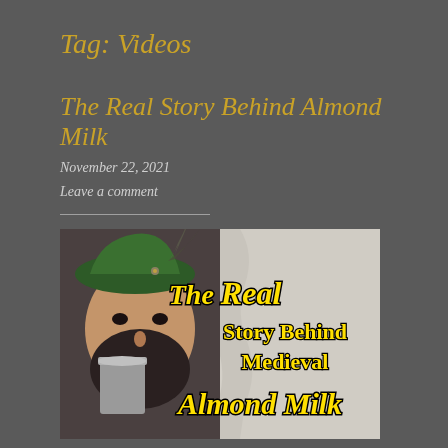Tag: Videos
The Real Story Behind Almond Milk
November 22, 2021
Leave a comment
[Figure (photo): Thumbnail image of a bearded man wearing a green medieval hat and drinking from a metal goblet, with yellow text overlay reading 'The Real Story Behind Medieval Almond Milk']